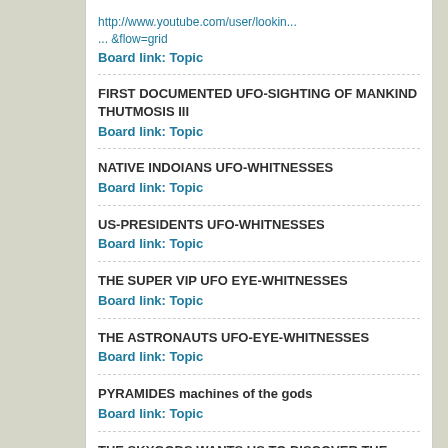http://www.youtube.com/user/lookin... &flow=grid
Board link: Topic
FIRST DOCUMENTED UFO-SIGHTING OF MANKIND THUTMOSIS III
Board link: Topic
NATIVE INDOIANS UFO-WHITNESSES
Board link: Topic
US-PRESIDENTS UFO-WHITNESSES
Board link: Topic
THE SUPER VIP UFO EYE-WHITNESSES
Board link: Topic
THE ASTRONAUTS UFO-EYE-WHITNESSES
Board link: Topic
PYRAMIDES machines of the gods
Board link: Topic
THE SKYGODS WANTS US TO DISCOVER THE FREE ENERGY!
Board link: Topic
THRIVE
A SIGN CARVED IN STONE BY